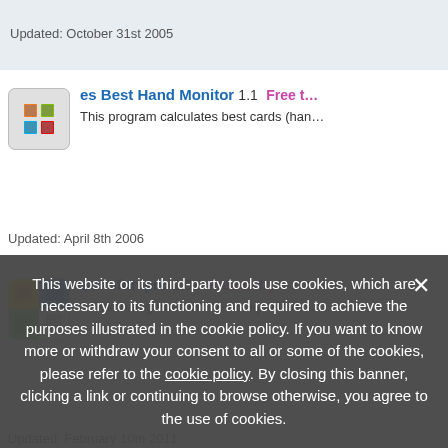Updated: October 31st 2005
es Best Hand Monitor  1.1  Free t…
This program calculates best cards (han…
Updated: April 8th 2006
Sokofun pro  2.01  Free to try
3 Sokoban games in one - unique levels
Updated: February 10th 2011
Texas Hold'em Calculator (Pock…
Updated: August 8th 2010
This website or its third-party tools use cookies, which are necessary to its functioning and required to achieve the purposes illustrated in the cookie policy. If you want to know more or withdraw your consent to all or some of the cookies, please refer to the cookie policy. By closing this banner, clicking a link or continuing to browse otherwise, you agree to the use of cookies.